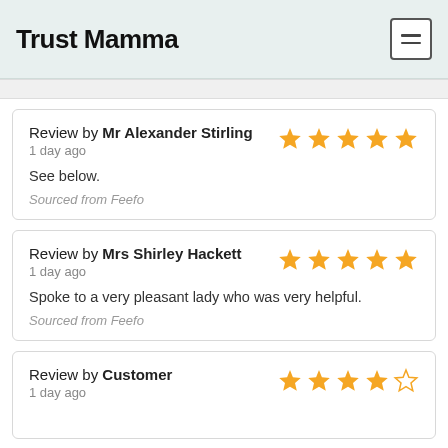Trust Mamma
Review by Mr Alexander Stirling
1 day ago
See below.
Sourced from Feefo
Review by Mrs Shirley Hackett
1 day ago
Spoke to a very pleasant lady who was very helpful.
Sourced from Feefo
Review by Customer
1 day ago